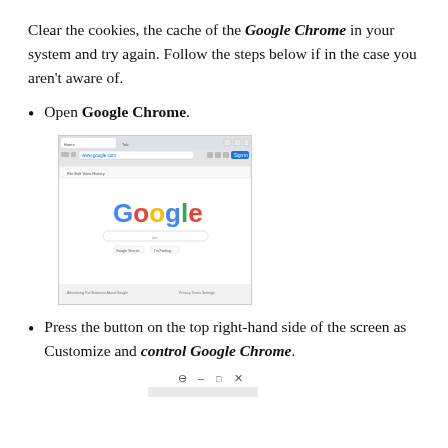Clear the cookies, the cache of the Google Chrome in your system and try again. Follow the steps below if in the case you aren't aware of.
Open Google Chrome.
[Figure (screenshot): Screenshot of Google Chrome browser window showing the Google homepage with the Google logo in multicolor, a search bar, and browser toolbar at the top.]
Press the button on the top right-hand side of the screen as Customize and control Google Chrome.
[Figure (screenshot): Partial screenshot showing the bottom of a browser window with minimize, maximize, and close buttons visible.]